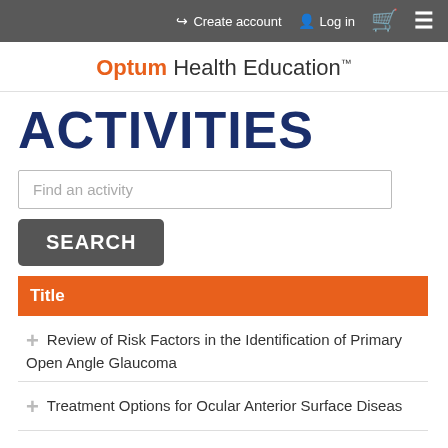Create account  Log in
Optum Health Education™
ACTIVITIES
Find an activity
SEARCH
| Title |
| --- |
| Review of Risk Factors in the Identification of Primary Open Angle Glaucoma |
| Treatment Options for Ocular Anterior Surface Diseas |